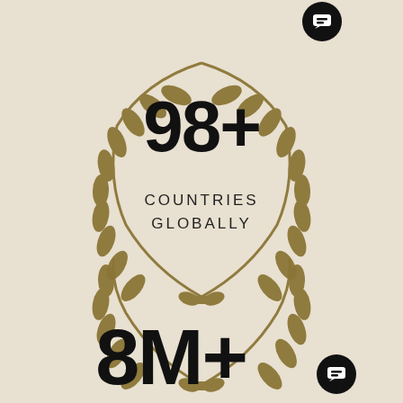[Figure (illustration): Golden laurel wreath surrounding the stat '98+' with text 'COUNTRIES GLOBALLY' below it, centered in the upper half of the page on a beige background. A small black circular chat badge appears at the top right of the wreath.]
98+
COUNTRIES GLOBALLY
[Figure (illustration): Partial golden laurel wreath visible at the bottom of the page, surrounding the stat '8M+'. A small black circular chat badge appears at the bottom right of the wreath.]
8M+